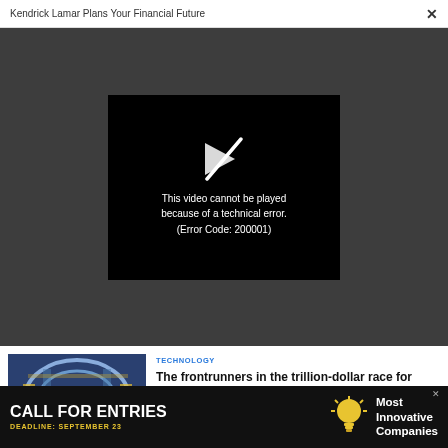Kendrick Lamar Plans Your Financial Future  ×
[Figure (screenshot): Video player showing error: This video cannot be played because of a technical error. (Error Code: 200001)]
TECHNOLOGY
[Figure (photo): Aerial interior view of a large circular industrial facility with machinery]
The frontrunners in the trillion-dollar race for limitless fusion power
MAGAZINE
[Figure (photo): Partial view of a person's face/head]
[Figure (other): Advertisement: CALL FOR ENTRIES — DEADLINE: SEPTEMBER 23 — Most Innovative Companies (with lightbulb icon)]